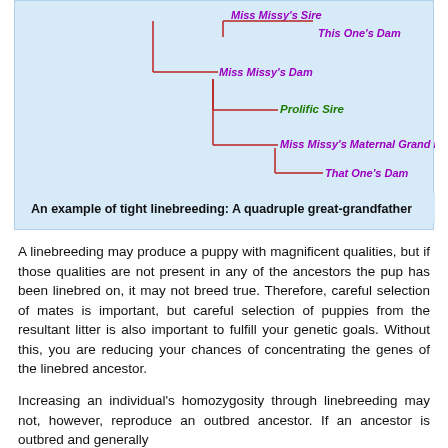[Figure (flowchart): Pedigree diagram showing linebreeding of a quadruple great-grandfather (Prolific Sire) appearing multiple times in the ancestry of a puppy. Lines connect ancestors: Miss Missy's Sire, This One's Dam, Miss Missy's Dam, Prolific Sire (in green), Miss Missy's Maternal Grand Dam, That One's Dam.]
An example of tight linebreeding: A quadruple great-grandfather
A linebreeding may produce a puppy with magnificent qualities, but if those qualities are not present in any of the ancestors the pup has been linebred on, it may not breed true. Therefore, careful selection of mates is important, but careful selection of puppies from the resultant litter is also important to fulfill your genetic goals. Without this, you are reducing your chances of concentrating the genes of the linebred ancestor.
Increasing an individual's homozygosity through linebreeding may not, however, reproduce an outbred ancestor. If an ancestor is outbred and generally